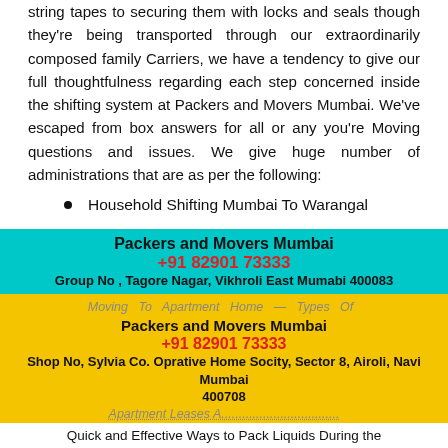string tapes to securing them with locks and seals though they're being transported through our extraordinarily composed family Carriers, we have a tendency to give our full thoughtfulness regarding each step concerned inside the shifting system at Packers and Movers Mumbai. We've escaped from box answers for all or any you're Moving questions and issues. We give huge number of administrations that are as per the following:
Household Shifting Mumbai To Warangal
Involved Shifting Mumbai To Warangal
Domestic Moving Mumbai To Warangal
Office Shifting Mumbai To Warangal
Home Shifting ETC Mumbai To Warangal
Packers and Movers Mumbai
+91 82901 73333
Group No , Tagore Nagar, Vikhroli East Mumabi 400083
Packers and Movers Mumbai
+91 82901 73333
Shop No, Sylvia Co. Oprative Home Socity, Sector 8, Airoli, Navi Mumbai 400708
Quick and Effective Ways to Pack Liquids During the